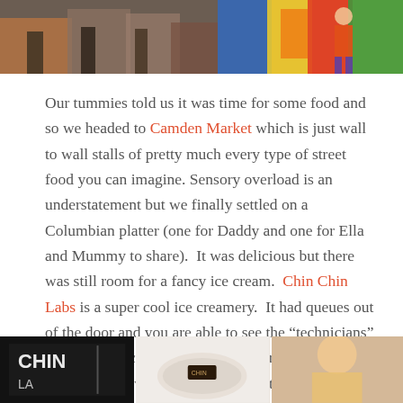[Figure (photo): Two photos side by side at top: left shows a street market scene with people, right shows a person standing in front of colorful graffiti mural]
Our tummies told us it was time for some food and so we headed to Camden Market which is just wall to wall stalls of pretty much every type of street food you can imagine. Sensory overload is an understatement but we finally settled on a Columbian platter (one for Daddy and one for Ella and Mummy to share).  It was delicious but there was still room for a fancy ice cream.  Chin Chin Labs is a super cool ice creamery.  It had queues out of the door and you are able to see the “technicians” make the ice cream with Liquid Nitrogen.  They only offer a few choices and serve it a few ways so with our Warmie and Chocolate Cookie Sandwich in hand Ella and I were totally satisfied.
[Figure (photo): Three photos at bottom: left shows Chin Chin Labs sign, middle shows food on a plate, right shows a close-up of a person]